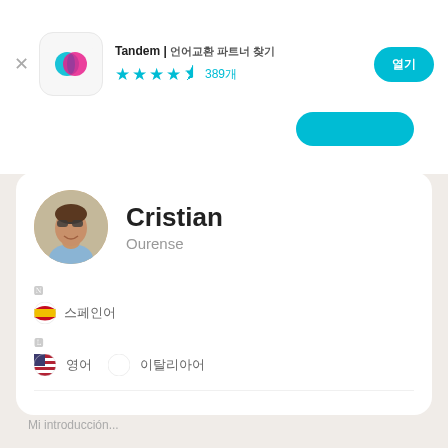Tandem | 언어교환 파트너 찾기 ★★★★½ 389개
[Figure (screenshot): Tandem app icon with cyan and pink overlapping speech bubble logos]
Cristian
Ourense
🇪🇸 스페인어
🇺🇸 영어  🇮🇹 이탈리아어
자기소개
Mi introducción...